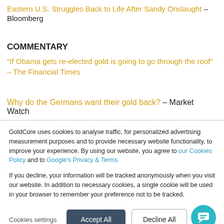Eastern U.S. Struggles Back to Life After Sandy Onslaught – Bloomberg
COMMENTARY
“If Obama gets re-elected gold is going to go through the roof” – The Financial Times
Why do the Germans want their gold back? – Market Watch
GoldCore uses cookies to analyse traffic, for personalized advertising measurement purposes and to provide necessary website functionality, to improve your experience. By using our website, you agree to our Cookies Policy and to Google’s Privacy & Terms
If you decline, your information will be tracked anonymously when you visit our website. In addition to necessary cookies, a single cookie will be used in your browser to remember your preference not to be tracked.